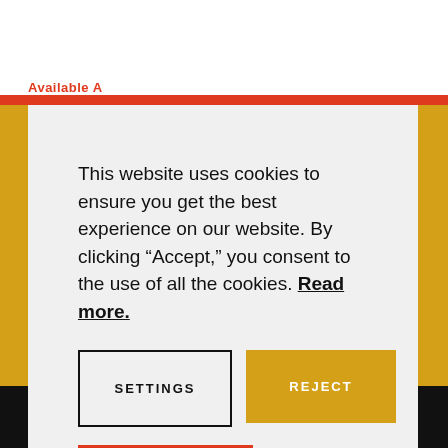This website uses cookies to ensure you get the best experience on our website. By clicking “Accept,” you consent to the use of all the cookies. Read more.
SETTINGS
REJECT
ACCEPT
THE WORLD